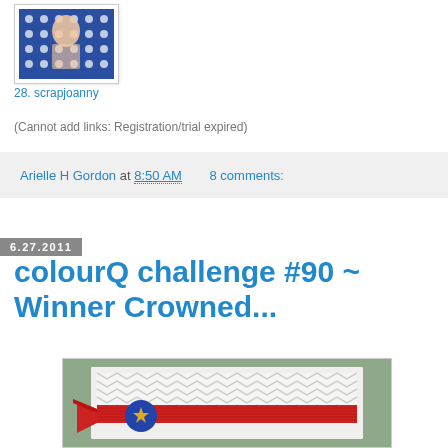[Figure (photo): Thumbnail photo of a crafted card with blue polka dot fabric, showing a child. Labeled as item 28.]
28. scrapjoanny
(Cannot add links: Registration/trial expired)
Arielle H Gordon at 8:50 AM    8 comments:
6.27.2011
colourQ challenge #90 ~ Winner Crowned...
[Figure (photo): Photograph of a handmade greeting card with sage green background, white chevron-patterned ribbon, red grosgrain ribbon, and a blue medallion with a gold star center.]